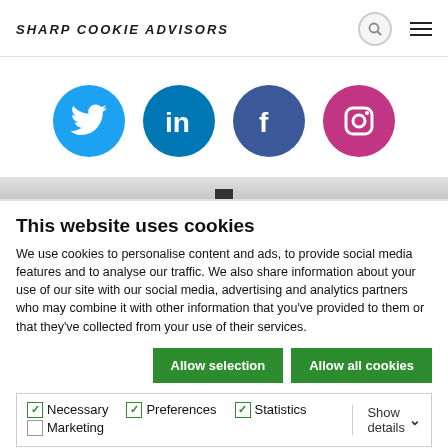SHARP COOKIE ADVISORS
[Figure (illustration): Four social media icons in colored circles: Twitter (light blue), LinkedIn (dark blue), Facebook (dark blue-purple), Instagram (pink/magenta)]
This website uses cookies
We use cookies to personalise content and ads, to provide social media features and to analyse our traffic. We also share information about your use of our site with our social media, advertising and analytics partners who may combine it with other information that you've provided to them or that they've collected from your use of their services.
Allow selection | Allow all cookies
Necessary  ✓ Preferences  ✓ Statistics  ☐ Marketing  Show details